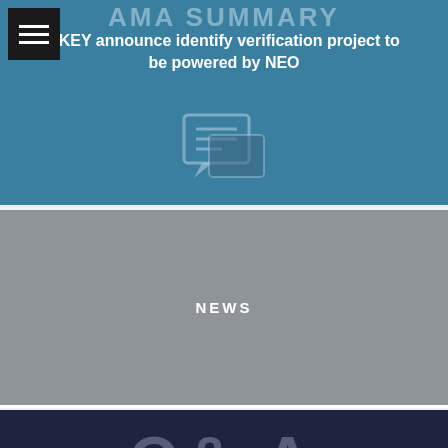AMA Summary
EKEY announce identify verification project to be powered by NEO
[Figure (illustration): Chat bubble / speech bubble icon in light blue outline on blue background]
NEWS
[Figure (illustration): Q&A with City of Zion background with document icon on dark navy background, including NEXT POST label and green scroll-up button]
NEXT POST
Q&A with totalvamp from City of Zion (CoZ)